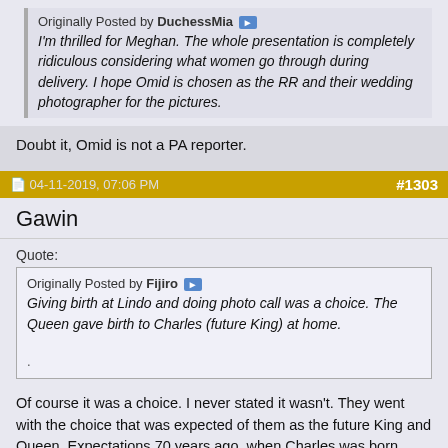Originally Posted by DuchessMia
I'm thrilled for Meghan. The whole presentation is completely ridiculous considering what women go through during delivery. I hope Omid is chosen as the RR and their wedding photographer for the pictures.
Doubt it, Omid is not a PA reporter.
04-11-2019, 07:06 PM   #1303
Gawin
Quote:
Originally Posted by Fijiro
Giving birth at Lindo and doing photo call was a choice. The Queen gave birth to Charles (future King) at home.
.
Of course it was a choice. I never stated it wasn't. They went with the choice that was expected of them as the future King and Queen. Expectations 70 years ago, when Charles was born, were different. Likewise, Philip skipped his son's birth because that was the practice then. But now the expectation is different and fathers (including Royal fathers) attend their children's birth.